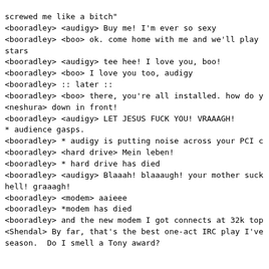screwed me like a bitch"
<booradley> <audigy> Buy me! I'm ever so sexy
<booradley> <boo> ok. come home with me and we'll play stars
<booradley> <audigy> tee hee! I love you, boo!
<booradley> <boo> I love you too, audigy
<booradley> :: later ::
<booradley> <boo> there, you're all installed. how do y
<neshura> down in front!
<booradley> <audigy> LET JESUS FUCK YOU! VRAAAGH!
* audience gasps.
<booradley> * audigy is putting noise across your PCI c
<booradley> <hard drive> Mein leben!
<booradley> * hard drive has died
<booradley> <audigy> Blaaah! blaaaugh! your mother suck hell! graaagh!
<booradley> <modem> aaieee
<booradley> *modem has died
<booradley> and the new modem I got connects at 32k top
<Shendal> By far, that's the best one-act IRC play I've season.  Do I smell a Tony award?
#205557 +(6248)- [x]
<Dark_Fox> Kami: if you changed your name to Kame, you much more interesting name :)
<Kami> Dark_Fox: And if you changed yours to Dark_Fax, more communicative name. :)
* Dark_Fox is now known as Dark_Fax
<Kami> It'd be... 'telecommunicative.'
* Dark_Fax makes noises and bitches because he's out of